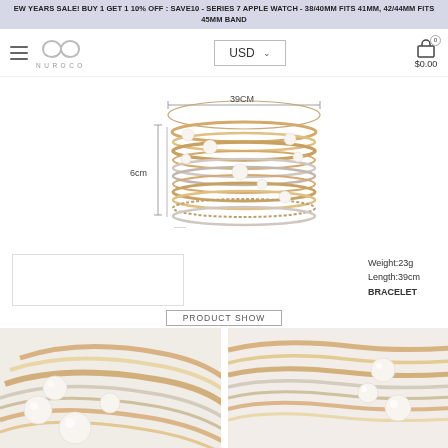EW YEARS SALE! BUY 1 GET 1 10% OFF : SAVE10 - SERIES 7 APPLE WATCH - 38/40MM FITS 41MM, 42/44MM FITS 45MM BAND
[Figure (logo): Nuroco infinity loop logo with hamburger menu, USD currency selector, and cart icon showing $0.00]
[Figure (photo): Stack of gold and silver bangle bracelets with pearl accents, shown with dimension annotations: 39CM width and 6cm height]
Weight:23g
Length:39cm
BRACELET
PRODUCT SHOW
[Figure (photo): Close-up photo of intertwined gold and silver bangle bracelets with white pearl beads]
[Figure (photo): Close-up photo of gold and silver bangle bracelets with pearl accents from a different angle]